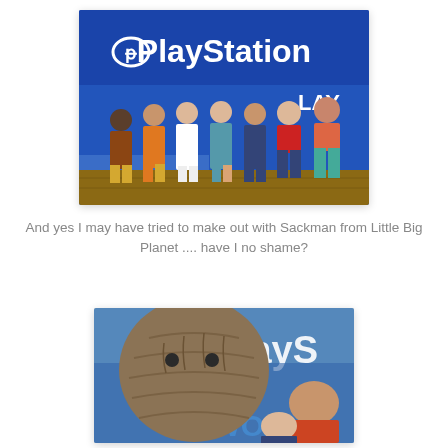[Figure (photo): Group of women posing in front of a large blue PlayStation banner/backdrop outdoors. The sign reads 'PlayStation' in white letters with the PlayStation logo.]
And yes I may have tried to make out with Sackman from Little Big Planet .... have I no shame?
[Figure (photo): Close-up photo showing the Sackboy character from Little Big Planet in front of a PlayStation banner. A person is leaning toward the character.]